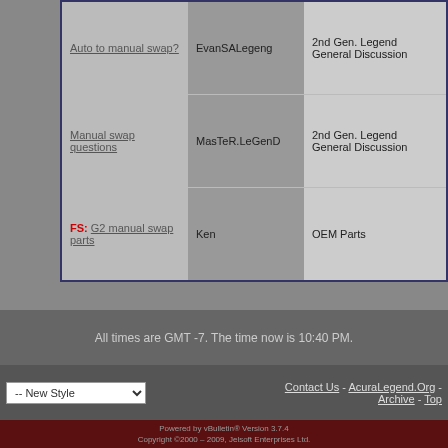| Topic | User | Forum |
| --- | --- | --- |
| Auto to manual swap? | EvanSALegeng | 2nd Gen. Legend General Discussion |
| Manual swap questions | MasTeR.LeGenD | 2nd Gen. Legend General Discussion |
| FS: G2 manual swap parts | Ken | OEM Parts |
All times are GMT -7. The time now is 10:40 PM.
Contact Us - AcuraLegend.Org - Archive - Top
Powered by vBulletin® Version 3.7.4 Copyright ©2000 - 2009, Jelsoft Enterprises Ltd. AcuraLegend.Org is not affiliated with, nor endorsed or sponsored by, Acura and/or Honda Motor Company. Some logos and content used herein are trademarks of Honda Motor Company.